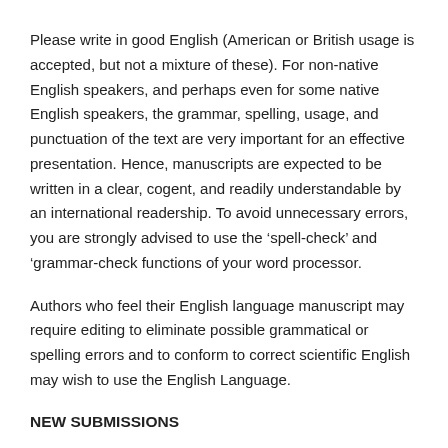Please write in good English (American or British usage is accepted, but not a mixture of these). For non-native English speakers, and perhaps even for some native English speakers, the grammar, spelling, usage, and punctuation of the text are very important for an effective presentation. Hence, manuscripts are expected to be written in a clear, cogent, and readily understandable by an international readership. To avoid unnecessary errors, you are strongly advised to use the ‘spell-check’ and ‘grammar-check functions of your word processor.
Authors who feel their English language manuscript may require editing to eliminate possible grammatical or spelling errors and to conform to correct scientific English may wish to use the English Language.
NEW SUBMISSIONS
Manuscripts must submit only online, proceeds are totally online